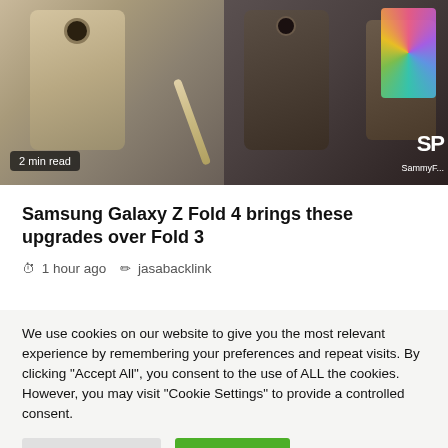[Figure (photo): Two Samsung Galaxy Z Fold phones side by side. Left image shows a gold/beige colored folded phone with a stylus. Right image shows a dark brown/black folded phone and an open phone showing colorful display. Left image has a '2 min read' badge. Right image has 'SP SammyF...' watermark.]
Samsung Galaxy Z Fold 4 brings these upgrades over Fold 3
1 hour ago  jasabacklink
We use cookies on our website to give you the most relevant experience by remembering your preferences and repeat visits. By clicking "Accept All", you consent to the use of ALL the cookies. However, you may visit "Cookie Settings" to provide a controlled consent.